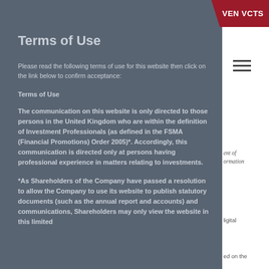VEN VCTS
Terms of Use
Please read the following terms of use for this website then click on the link below to confirm acceptance:
Terms of Use
The communication on this website is only directed to those persons in the United Kingdom who are within the definition of Investment Professionals (as defined in the FSMA (Financial Promotions) Order 2005)*. Accordingly, this communication is directed only at persons having professional experience in matters relating to investments.
*As Shareholders of the Company have passed a resolution to allow the Company to use its website to publish statutory documents (such as the annual report and accounts) and communications, Shareholders may only view the website in this limited